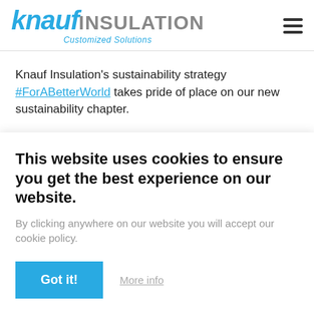[Figure (logo): Knauf Insulation logo with 'Customized Solutions' tagline and hamburger menu icon]
Knauf Insulation's sustainability strategy #ForABetterWorld takes pride of place on our new sustainability chapter.
The new section showcases our continuous journey of improvement to lower the company's environmental [partially visible]
This website uses cookies to ensure you get the best experience on our website.
By clicking anywhere on our website you will accept our cookie policy.
Got it!
More info